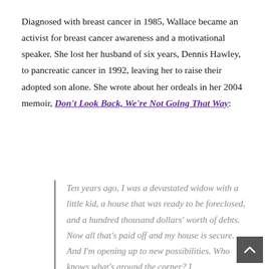Diagnosed with breast cancer in 1985, Wallace became an activist for breast cancer awareness and a motivational speaker. She lost her husband of six years, Dennis Hawley, to pancreatic cancer in 1992, leaving her to raise their adopted son alone. She wrote about her ordeals in her 2004 memoir, Don't Look Back, We're Not Going That Way:
Ten years ago, I was a devastated widow with a little kid, a house that was ready to be foreclosed, and a hundred thousand dollars' worth of debts. Now all that's paid off and my house is secure. And I'm opening up to new possibilities. Who knows what's around the corner? I